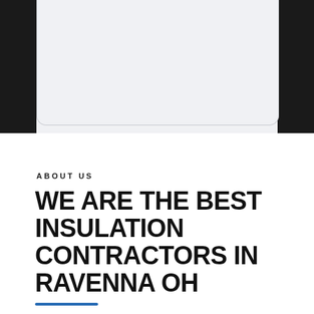[Figure (other): Top section with dark side panels and a light grey rounded-bottom card/box shape in the center, showing a partial UI or image placeholder element.]
ABOUT US
WE ARE THE BEST INSULATION CONTRACTORS IN RAVENNA OH